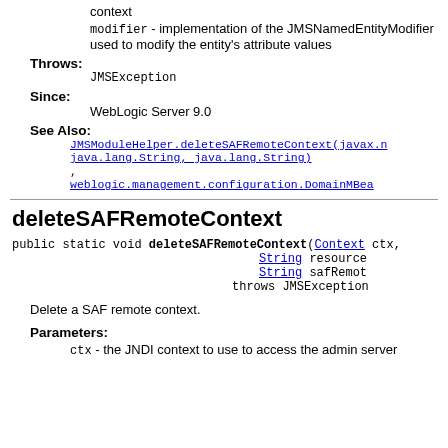context
modifier - implementation of the JMSNamedEntityModifier used to modify the entity's attribute values
Throws:
JMSException
Since:
WebLogic Server 9.0
See Also:
JMSModuleHelper.deleteSAFRemoteContext(javax.n... java.lang.String, java.lang.String), weblogic.management.configuration.DomainMBea...
deleteSAFRemoteContext
public static void deleteSAFRemoteContext(Context ctx, String resource... String safRemot... throws JMSException
Delete a SAF remote context.
Parameters:
ctx - the JNDI context to use to access the admin server